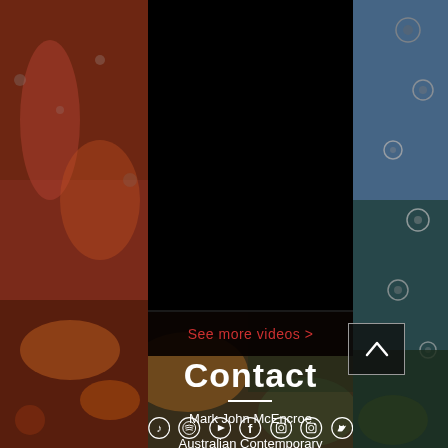[Figure (photo): Background photo collage: left strip shows wet red/brown surface, right strip shows blue water droplets on surface. Center top is black video embed area.]
See more videos >
Contact
Mark John McEncroe
Australian Contemporary Composer
[Figure (other): Social media icons row: music note, Spotify, YouTube, Facebook, Instagram, Instagram, Twitter — all white on circular outlines]